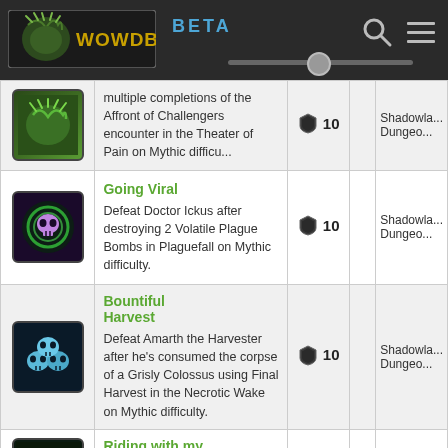WOWDB BETA
| Icon | Achievement | Points |  | Category |
| --- | --- | --- | --- | --- |
| [icon] | multiple completions of the Affront of Challengers encounter in the Theater of Pain on Mythic difficu... | 10 |  | Shadowlands Dungeons |
| [icon] | Going Viral — Defeat Doctor Ickus after destroying 2 Volatile Plague Bombs in Plaguefall on Mythic difficulty. | 10 |  | Shadowlands Dungeons |
| [icon] | Bountiful Harvest — Defeat Amarth the Harvester after he's consumed the corpse of a Grisly Colossus using Final Harvest in the Necrotic Wake on Mythic difficulty. | 10 |  | Shadowlands Dungeons |
| [icon] | Riding with my Slimes — Defeat all bosses |  |  |  |